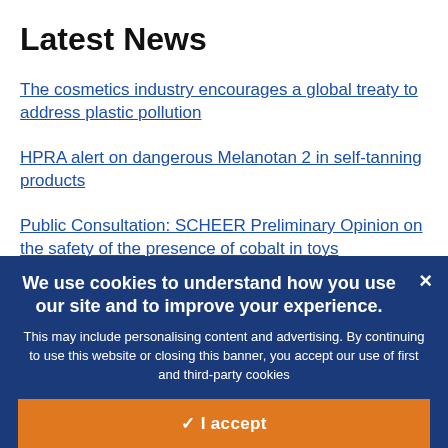Latest News
The cosmetics industry encourages a global treaty to address plastic pollution
HPRA alert on dangerous Melanotan 2 in self-tanning products
Public Consultation: SCHEER Preliminary Opinion on the safety of the presence of cobalt in toys
We use cookies to understand how you use our site and to improve your experience.
This may include personalising content and advertising. By continuing to use this website or closing this banner, you accept our use of first and third-party cookies
✓ I accept